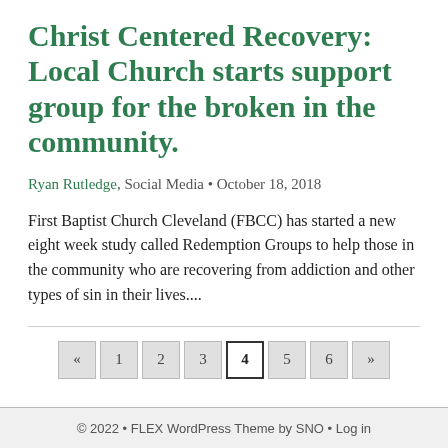Christ Centered Recovery: Local Church starts support group for the broken in the community.
Ryan Rutledge, Social Media • October 18, 2018
First Baptist Church Cleveland (FBCC) has started a new eight week study called Redemption Groups to help those in the community who are recovering from addiction and other types of sin in their lives....
« 1 2 3 4 5 6 »
© 2022 • FLEX WordPress Theme by SNO • Log in